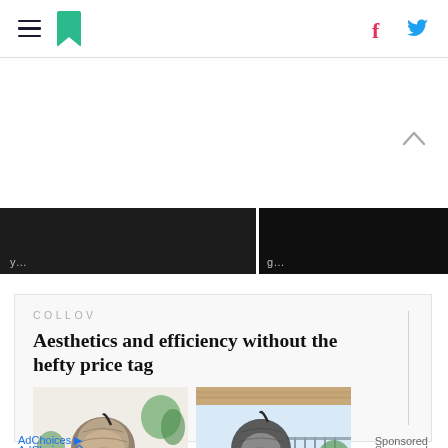HuffPost header with hamburger menu, logo, Facebook and Twitter icons
[Figure (screenshot): Scroll-up chevron arrow]
[Figure (photo): Two partially visible dark article thumbnail images at top of page]
[Figure (photo): COLLOV advertisement showing two egg/hanging chairs. Brand: COLLOV. Headline: Aesthetics and efficiency without the hefty price tag. AdChoices and Sponsored labels at bottom.]